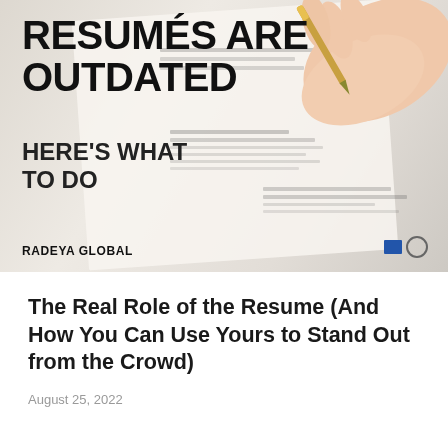[Figure (photo): A photograph showing a hand holding a gold pen over a resume document. Overlaid text reads 'RESUMÉS ARE OUTDATED HERE'S WHAT TO DO' in bold black font. The brand name 'RADEYA GLOBAL' appears at the bottom left.]
The Real Role of the Resume (And How You Can Use Yours to Stand Out from the Crowd)
August 25, 2022